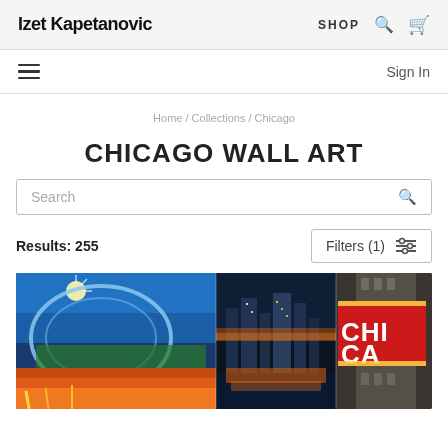Izet Kapetanovic | SHOP
Sign In
Home / Collections / Chicago
CHICAGO WALL ART
Search
Results: 255
Filters (1)
[Figure (photo): A collage of Chicago cityscape photographs including the Bean/Millennium Park, Chicago skyline at night, and the Chicago Theatre marquee sign.]